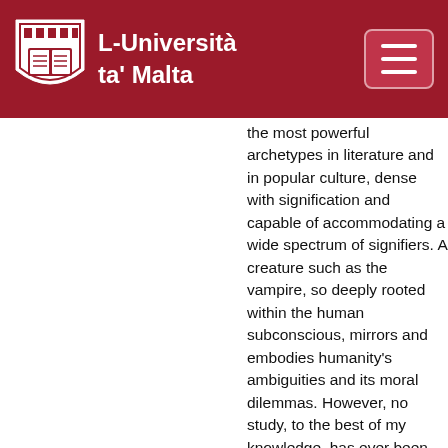L-Università ta' Malta
the most powerful archetypes in literature and in popular culture, dense with signification and capable of accommodating a wide spectrum of signifiers. A creature such as the vampire, so deeply rooted within the human subconscious, mirrors and embodies humanity's ambiguities and its moral dilemmas. However, no study, to the best of my knowledge, has ever been directed exclusively at the moral ambivalence endemic to vampire literature and film. This study aims to explore the moral ambivalence at the heart of the vampire genre by analysing a diverse selection of literary and cinematic narratives. Spanning more than two centuries of vampire literature, and more than ninety years of cinema, this study looks at significant contributions in each field, including, but not limited to, such milestones as the prototype of the female vampire/demon in Samuel Taylor Coleridge's 'Christabel', the first vampire short story penned by John William Polidori, Bram Stoker's Dracula and its most significant cinematic adaptations, and the rewriting of the vampire myth by Anne Rice. The vampire's protean